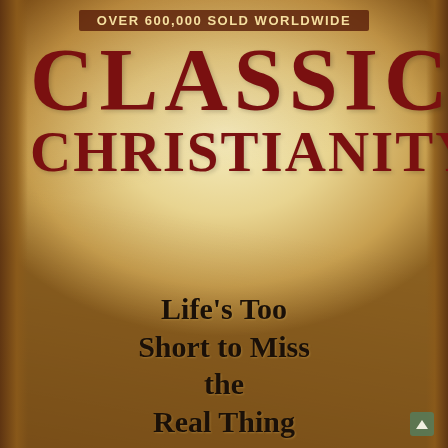OVER 600,000 SOLD WORLDWIDE
CLASSIC CHRISTIANITY
Life's Too Short to Miss the Real Thing